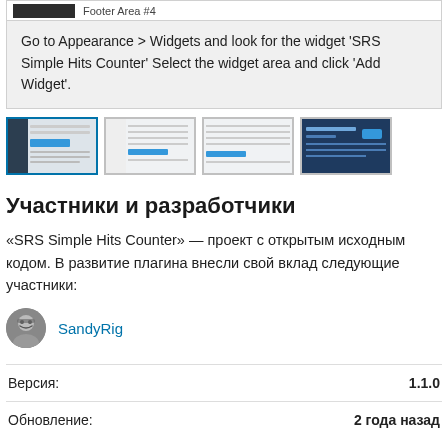[Figure (screenshot): Top strip with dark thumbnail and 'Footer Area #4' label, above a grey info box]
Go to Appearance > Widgets and look for the widget 'SRS Simple Hits Counter' Select the widget area and click 'Add Widget'.
[Figure (screenshot): Row of four plugin screenshot thumbnails showing WordPress admin UI]
Участники и разработчики
«SRS Simple Hits Counter» — проект с открытым исходным кодом. В развитие плагина внесли свой вклад следующие участники:
SandyRig
|  |  |
| --- | --- |
| Версия: | 1.1.0 |
| Обновление: | 2 года назад |